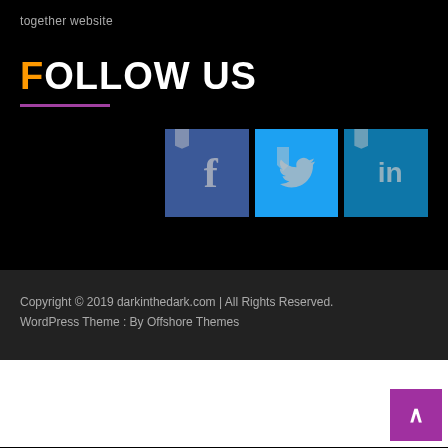together website
FOLLOW US
[Figure (illustration): Three social media icons: Facebook (dark blue with 'f'), Twitter (light blue with bird), LinkedIn (blue with 'in')]
Copyright © 2019 darkinthedark.com | All Rights Reserved.
WordPress Theme : By Offshore Themes